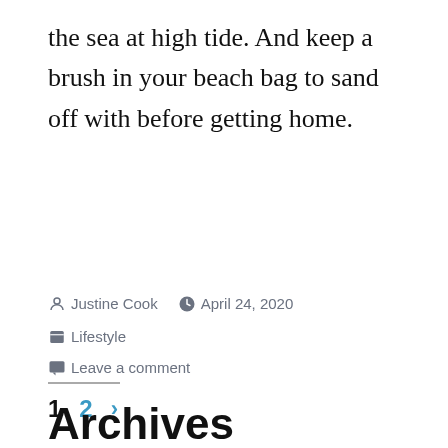the sea at high tide. And keep a brush in your beach bag to sand off with before getting home.
By Justine Cook  April 24, 2020  Lifestyle  Leave a comment
1  2  >
Archives